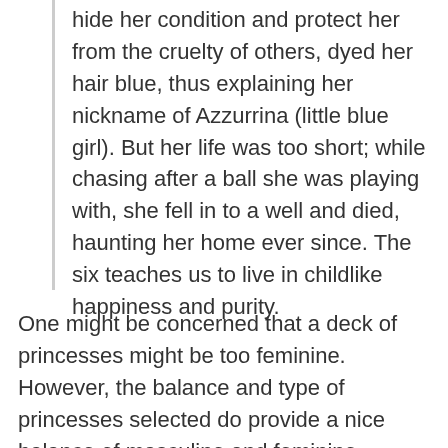hide her condition and protect her from the cruelty of others, dyed her hair blue, thus explaining her nickname of Azzurrina (little blue girl). But her life was too short; while chasing after a ball she was playing with, she fell in to a well and died, haunting her home ever since. The six teaches us to live in childlike happiness and purity.
One might be concerned that a deck of princesses might be too feminine. However, the balance and type of princesses selected do provide a nice balance of masculine and feminine energies. Besides, part of the goal of the deck is to explore the archetypal meanings and power through a feminine eye.